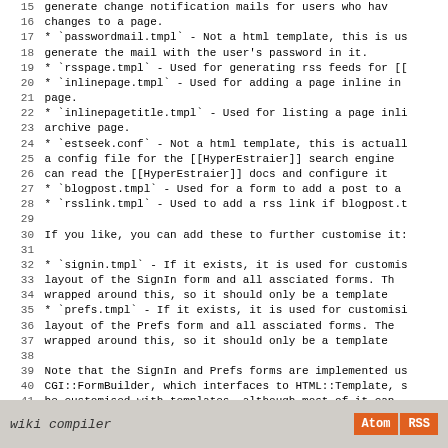Lines 15-43 of code/wiki documentation listing template files and their descriptions, followed by a note about SignIn and Prefs forms.
wiki compiler  Atom  RSS